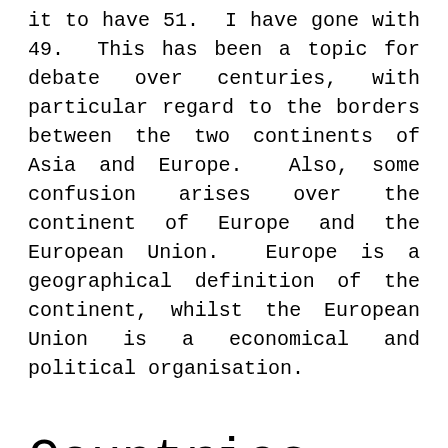it to have 51.  I have gone with 49.  This has been a topic for debate over centuries, with particular regard to the borders between the two continents of Asia and Europe.  Also, some confusion arises over the continent of Europe and the European Union.  Europe is a geographical definition of the continent, whilst the European Union is a economical and political organisation.
Countries that start with